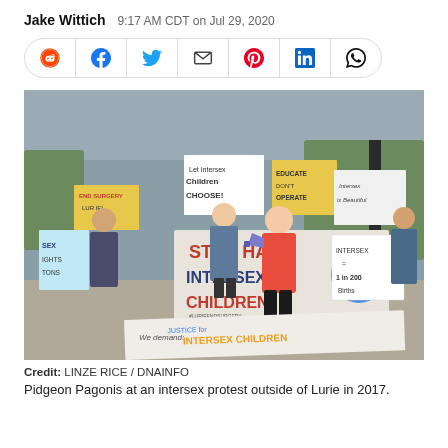Jake Wittich   9:17 AM CDT on Jul 29, 2020
[Figure (other): Social media share bar with icons for Reddit, Facebook, Twitter, Email, Pinterest, LinkedIn, WhatsApp]
[Figure (photo): Protest outside Lurie Children's Hospital. People holding signs reading 'Stop Harm Intersex Children', 'Let Intersex Children Choose', 'Educate Don't Operate', 'Intersex is Beautiful', 'Intersex = 1 in 200 Births', 'End Surgery Lurie'. Person in pink jacket speaking through megaphone. Banner on ground reads 'We demand Justice for Intersex Children'.]
Credit: LINZE RICE / DNAINFO
Pidgeon Pagonis at an intersex protest outside of Lurie in 2017.